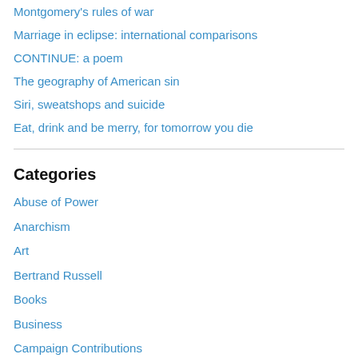Montgomery's rules of war
Marriage in eclipse: international comparisons
CONTINUE: a poem
The geography of American sin
Siri, sweatshops and suicide
Eat, drink and be merry, for tomorrow you die
Categories
Abuse of Power
Anarchism
Art
Bertrand Russell
Books
Business
Campaign Contributions
Capitalism
Cartoons
Civil Liberties